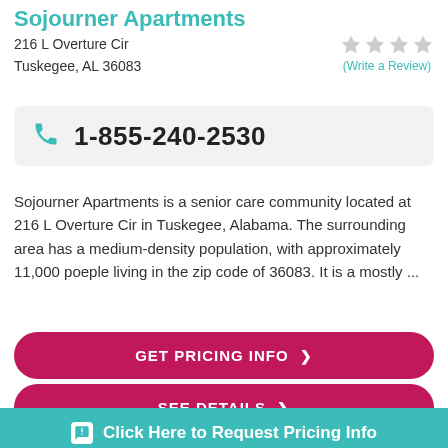Sojourner Apartments
216 L Overture Cir
Tuskegee, AL 36083
(Write a Review)
1-855-240-2530
Sojourner Apartments is a senior care community located at 216 L Overture Cir in Tuskegee, Alabama. The surrounding area has a medium-density population, with approximately 11,000 poeple living in the zip code of 36083. It is a mostly ...
GET PRICING INFO ❯
SEE DETAILS ❯
Click Here to Request Pricing Info